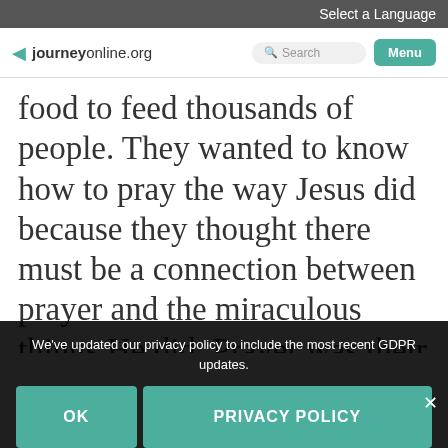Select a Language
journey online.org  Search  Menu
food to feed thousands of people. They wanted to know how to pray the way Jesus did because they thought there must be a connection between prayer and the miraculous things He did. Prayer was their opportunity to have a relationship
We've updated our privacy policy to include the most recent GDPR updates.
OK
PRIVACY POLICY